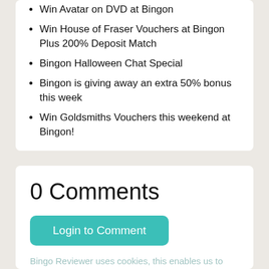Win Avatar on DVD at Bingon
Win House of Fraser Vouchers at Bingon Plus 200% Deposit Match
Bingon Halloween Chat Special
Bingon is giving away an extra 50% bonus this week
Win Goldsmiths Vouchers this weekend at Bingon!
0 Comments
Login to Comment
Bingo Reviewer uses cookies, this enables us to provide you with a personalised experience.
Got it!